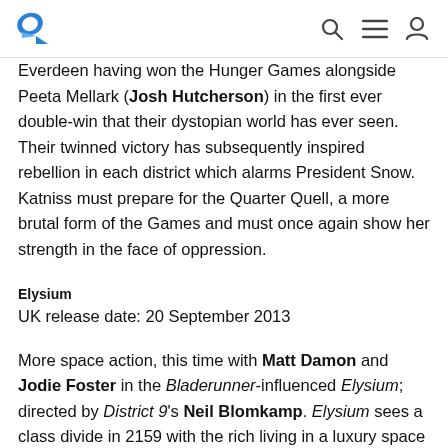[Logo] [Search icon] [Menu icon] [User icon]
Everdeen having won the Hunger Games alongside Peeta Mellark (Josh Hutcherson) in the first ever double-win that their dystopian world has ever seen. Their twinned victory has subsequently inspired rebellion in each district which alarms President Snow. Katniss must prepare for the Quarter Quell, a more brutal form of the Games and must once again show her strength in the face of oppression.
Elysium
UK release date: 20 September 2013
More space action, this time with Matt Damon and Jodie Foster in the Bladerunner-influenced Elysium; directed by District 9's Neil Blomkamp. Elysium sees a class divide in 2159 with the rich living in a luxury space station which excludes the poor who are exiled to live in a ruined and polluted Earth.